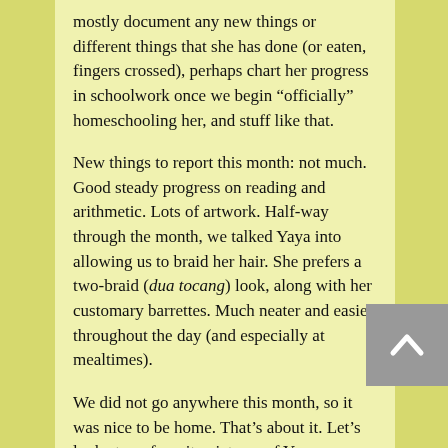mostly document any new things or different things that she has done (or eaten, fingers crossed), perhaps chart her progress in schoolwork once we begin “officially” homeschooling her, and stuff like that.

New things to report this month: not much. Good steady progress on reading and arithmetic. Lots of artwork. Half-way through the month, we talked Yaya into allowing us to braid her hair. She prefers a two-braid (dua tocang) look, along with her customary barrettes. Much neater and easier throughout the day (and especially at mealtimes).

We did not go anywhere this month, so it was nice to be home. That’s about it. Let’s look at my favorite pictures of Yaya throughout the month.

[Image 2013-yaya61month-China-Shit...